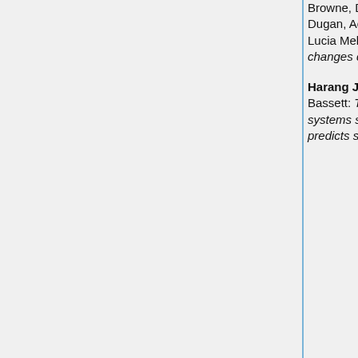Browne, Daniel Friedman, Anli Liu, Patricia Dugan, Adeen Flinker, ... Lucia Melloni: Online tracking of neural changes during statistical learning.
Sreekumar, Baltazar Zavala, Kareem Zaghloul. Prefrontal-subthalamic contributions to memory-based decision-making.
Harang Ju, Jason Z. Kim, Danielle S. Bassett: The network topology of neural systems supporting avalanche dynamics predicts stimulus propagation and recovery.
Felicitas Kluger & Jeremy B. Caplan: An autobiographical story-peg mnemonic technique for serial recall.